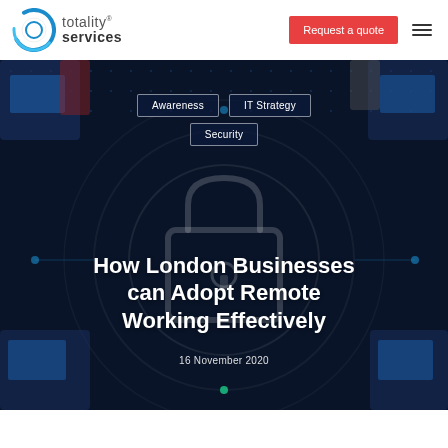[Figure (logo): Totality Services logo with blue circular icon and company name]
Request a quote
[Figure (photo): Aerial view of people working on digital devices arranged in a circle around a large glowing padlock icon on a dark blue cyber-themed background]
Awareness
IT Strategy
Security
How London Businesses can Adopt Remote Working Effectively
16 November 2020